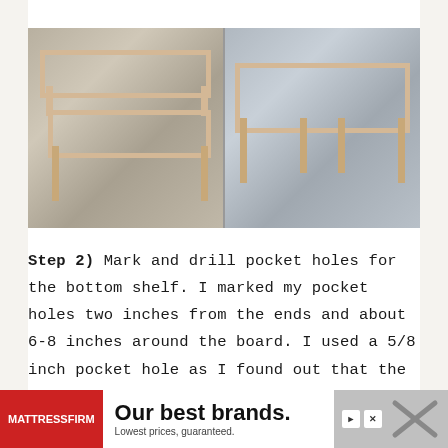[Figure (photo): Two photographs side by side showing wooden frame construction: left photo shows two rectangular wooden shelf frames lying flat, right photo shows an assembled 3D rectangular wooden frame structure standing upright outdoors on concrete.]
Step 2) Mark and drill pocket holes for the bottom shelf. I marked my pocket holes two inches from the ends and about 6-8 inches around the board. I used a 5/8 inch pocket hole as I found out that the screw poked through
[Figure (other): Advertisement banner: Mattress Firm logo on red background, text reads 'Our best brands. Lowest prices, guaranteed.' with play and close buttons.]